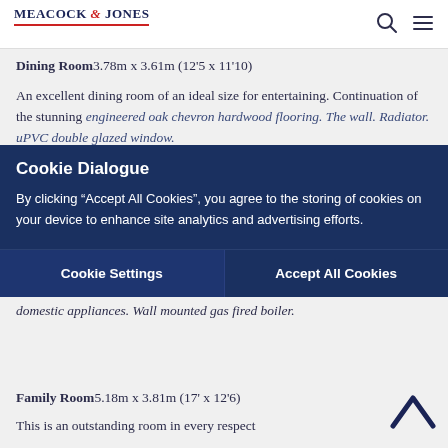MEACOCK & JONES
gloss storage cupboard. This room could easily be used as a further room if required.
Dining Room 3.78m x 3.61m (12'5 x 11'10)
An excellent dining room of an ideal size for entertaining. Continuation of the stunning engineered oak chevron hardwood flooring. The wall. Radiator. uPVC double glazed window.
Utility Area
Base and matching wall cabinets. Wood worktop. Space and plumbing for domestic appliances. Wall mounted gas fired boiler.
Family Room 5.18m x 3.81m (17' x 12'6)
This is an outstanding room in every respect
Cookie Dialogue

By clicking "Accept All Cookies", you agree to the storing of cookies on your device to enhance site analytics and advertising efforts.

Cookie Settings | Accept All Cookies